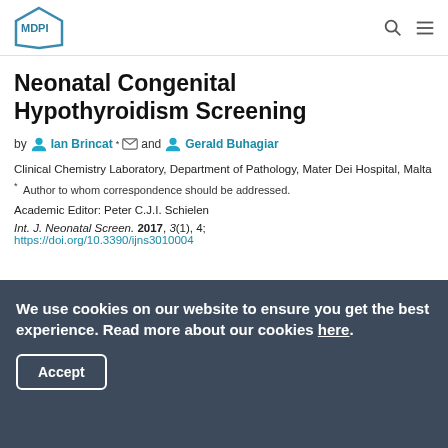MDPI
Neonatal Congenital Hypothyroidism Screening
by Ian Brincat * and Gerald Buhagiar
Clinical Chemistry Laboratory, Department of Pathology, Mater Dei Hospital, Malta
* Author to whom correspondence should be addressed.
Academic Editor: Peter C.J.I. Schielen
Int. J. Neonatal Screen. 2017, 3(1), 4; https://doi.org/10.3390/ijns3010004
We use cookies on our website to ensure you get the best experience. Read more about our cookies here.
Accept